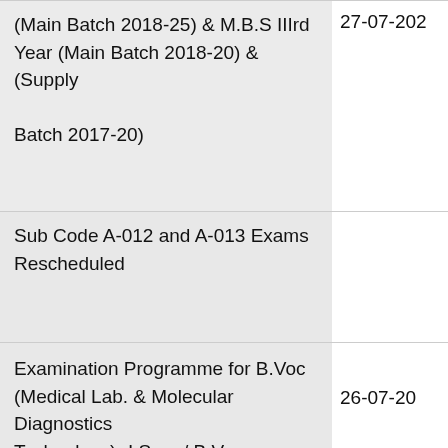(Main Batch 2018-25) & M.B.S IIIrd Year (Main Batch 2018-20) & (Supply Batch 2017-20)
27-07-202
Sub Code A-012 and A-013 Exams Rescheduled
Examination Programme for B.Voc (Medical Lab. & Molecular Diagnostics Technology)- I Sem./ B.Voc (Airlines, Tourism and Hospitality Management)- I Sem
26-07-20
Exa
[Figure (other): BitLife - Life Simulator advertisement banner with Ad label, cartoon arm image on left, BitLife logo on right, Install button]